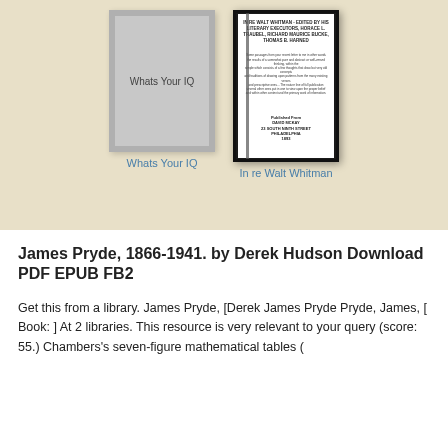[Figure (illustration): Book cover placeholder with text 'Whats Your IQ' on grey background with border]
[Figure (illustration): Scanned book interior page for 'In re Walt Whitman' showing title page text, dark tablet-style border]
Whats Your IQ
In re Walt Whitman
James Pryde, 1866-1941. by Derek Hudson Download PDF EPUB FB2
Get this from a library. James Pryde, [Derek James Pryde Pryde, James, [ Book: ] At 2 libraries. This resource is very relevant to your query (score: 55.) Chambers's seven-figure mathematical tables (